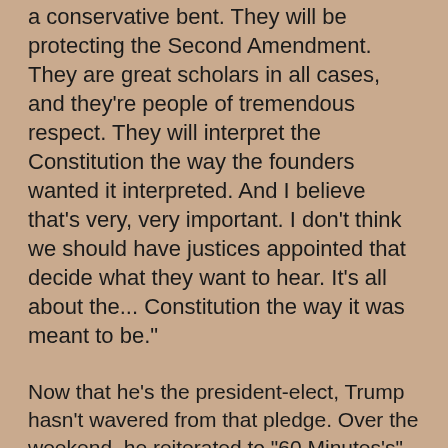a conservative bent. They will be protecting the Second Amendment. They are great scholars in all cases, and they're people of tremendous respect. They will interpret the Constitution the way the founders wanted it interpreted. And I believe that's very, very important. I don't think we should have justices appointed that decide what they want to hear. It's all about the... Constitution the way it was meant to be."
Now that he's the president-elect, Trump hasn't wavered from that pledge. Over the weekend, he reiterated to "60 Minutes's" Leslie Stahl, "I'm pro-life. The judges will be pro-life." What happens to women if Roe v. Wade is overturned, she went on? "They'll perhaps have to go... to another state," Trump replied matter-of-factly. House and Senate Republicans, who were also vindicated for leaving Scalia's seat open for the new